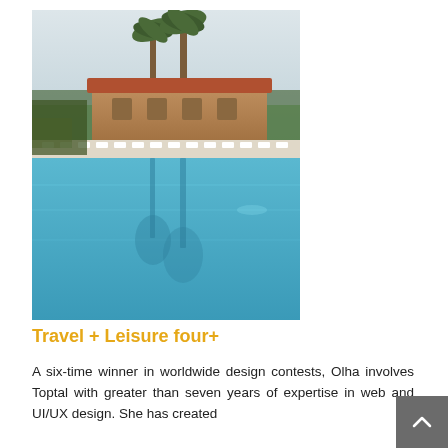[Figure (photo): Outdoor swimming pool with lounge chairs, palm trees, and a terracotta-roofed building in the background. The pool reflects the palm trees in still blue water.]
Travel + Leisure four+
A six-time winner in worldwide design contests, Olha involves Toptal with greater than seven years of expertise in web and UI/UX design. She has created